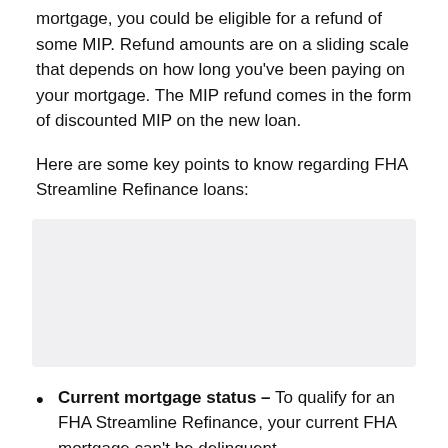mortgage, you could be eligible for a refund of some MIP. Refund amounts are on a sliding scale that depends on how long you've been paying on your mortgage. The MIP refund comes in the form of discounted MIP on the new loan.
Here are some key points to know regarding FHA Streamline Refinance loans:
[Figure (other): Gray placeholder box, likely containing an image or table related to FHA Streamline Refinance key points]
Current mortgage status — To qualify for an FHA Streamline Refinance, your current FHA mortgage can't be delinquent.
Fixed versus adjustable rates — You can get the FHA Streamline Refinance loan as a fixed- or adjustable-rate...